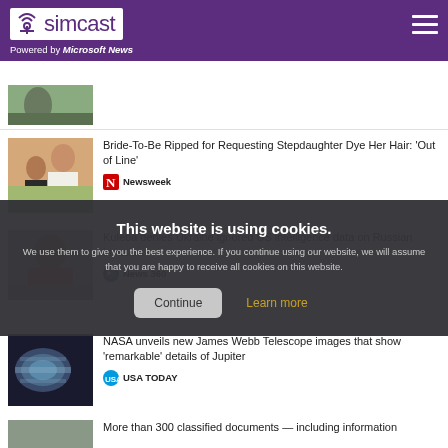simcast — Powered by Microsoft News
[Figure (screenshot): Thumbnail image of a person outdoors (partially cropped)]
[Figure (photo): Photo of a bride and groom]
Bride-To-Be Ripped for Requesting Stepdaughter Dye Her Hair: 'Out of Line'
Newsweek
[Figure (photo): Photo of a man in orange shirt]
Kuleba denies Ukraine ignored US intelligence data on Russian invasion
News 360
This website is using cookies.
We use them to give you the best experience. If you continue using our website, we will assume that you are happy to receive all cookies on this website.
Continue
Learn more
[Figure (photo): Photo of Jupiter planet]
NASA unveils new James Webb Telescope images that show 'remarkable' details of Jupiter
USA TODAY
More than 300 classified documents — including information